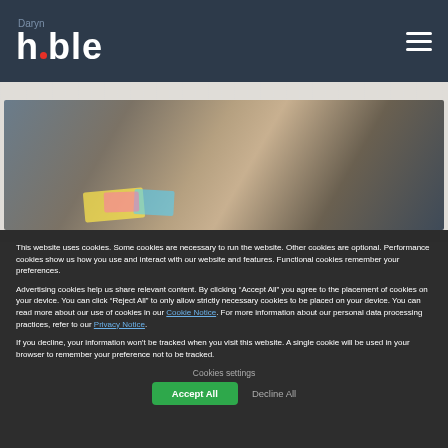Daryn huble
[Figure (photo): Overhead photo of people working at a table with sticky notes and papers, hands visible holding markers and notes]
This website uses cookies. Some cookies are necessary to run the website. Other cookies are optional. Performance cookies show us how you use and interact with our website and features. Functional cookies remember your preferences.
Advertising cookies help us share relevant content. By clicking “Accept All” you agree to the placement of cookies on your device. You can click “Reject All” to only allow strictly necessary cookies to be placed on your device. You can read more about our use of cookies in our Cookie Notice. For more information about our personal data processing practices, refer to our Privacy Notice.
If you decline, your information won’t be tracked when you visit this website. A single cookie will be used in your browser to remember your preference not to be tracked.
Cookies settings
Accept All
Decline All